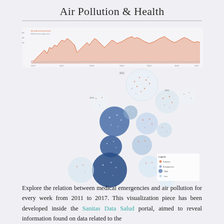Air Pollution & Health
[Figure (infographic): A composite visualization showing air pollution and medical emergency data. Top portion shows a time-series line/area chart with orange spikes representing air pollution levels and a lower blue-gray line for medical emergencies from 2011 to 2017. Below it is a bubble chart / circular arrangement of circles of varying sizes and shades (dark blue to light blue) scattered in a diagonal pattern, each circle containing small scattered dots representing data points. A small legend appears in the lower right of the bubble chart area.]
Explore the relation between medical emergencies and air pollution for every week from 2011 to 2017. This visualization piece has been developed inside the Sanitas Data Salud portal, aimed to reveal information found on data related to the